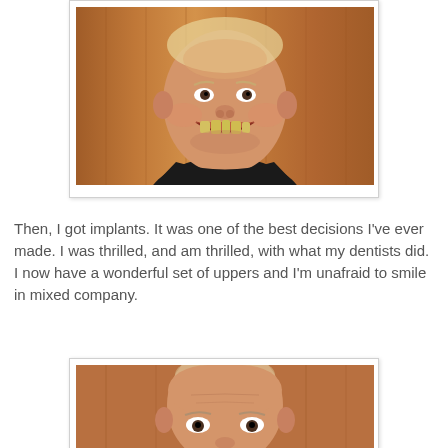[Figure (photo): Before photo: man smiling showing teeth with dental issues, wearing black shirt, against wood-paneled background]
Then, I got implants. It was one of the best decisions I've ever made. I was thrilled, and am thrilled, with what my dentists did. I now have a wonderful set of uppers and I'm unafraid to smile in mixed company.
[Figure (photo): After photo: same man, top of head visible, looking down slightly, against wood-paneled background]